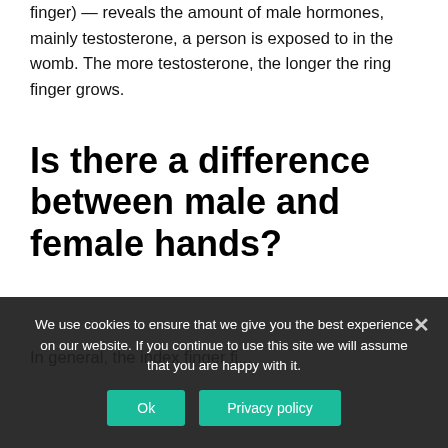finger) — reveals the amount of male hormones, mainly testosterone, a person is exposed to in the womb. The more testosterone, the longer the ring finger grows.
Is there a difference between male and female hands?
In general, the index...
We use cookies to ensure that we give you the best experience on our website. If you continue to use this site we will assume that you are happy with it.